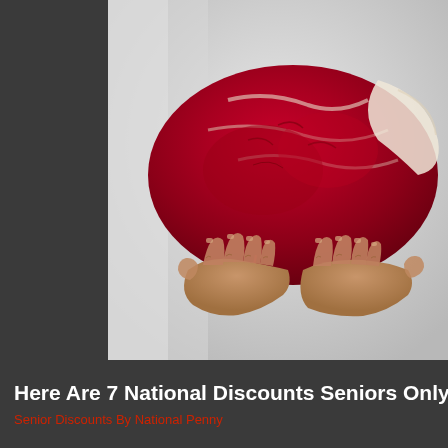[Figure (photo): Hands holding a large raw red cut of beef/meat, photographed close-up against a blurred light background. The meat shows vivid red color with fat and sinew visible.]
Here Are 7 National Discounts Seniors Only Ge
Senior Discounts By National Penny